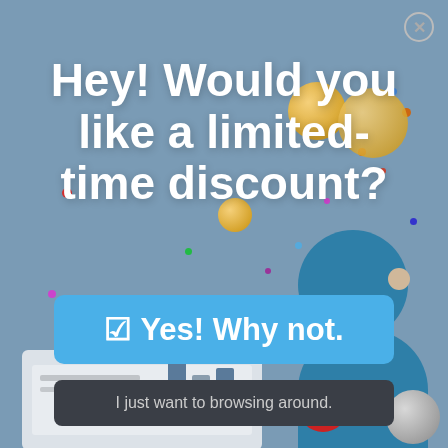[Figure (illustration): Promotional popup overlay with a light blue-grey background showing a cartoon character (teal-colored person) near a laptop with coins, confetti dots, and a percentage sign. A close button (X in circle) is in the top right corner.]
Hey! Would you like a limited-time discount?
☑ Yes! Why not.
I just want to browsing around.